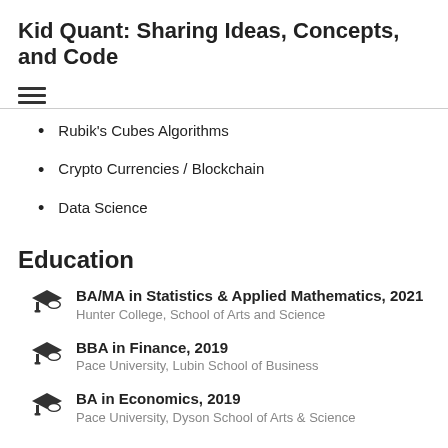Kid Quant: Sharing Ideas, Concepts, and Code
[Figure (other): Hamburger menu icon with three horizontal lines]
Rubik's Cubes Algorithms
Crypto Currencies / Blockchain
Data Science
Education
BA/MA in Statistics & Applied Mathematics, 2021
Hunter College, School of Arts and Science
BBA in Finance, 2019
Pace University, Lubin School of Business
BA in Economics, 2019
Pace University, Dyson School of Arts & Science